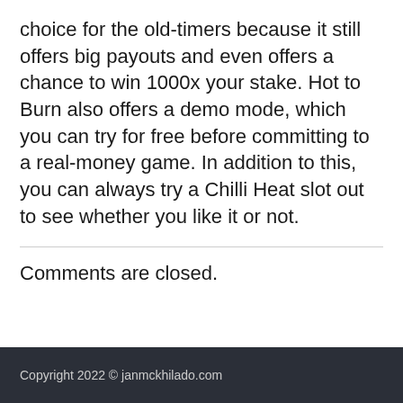choice for the old-timers because it still offers big payouts and even offers a chance to win 1000x your stake. Hot to Burn also offers a demo mode, which you can try for free before committing to a real-money game. In addition to this, you can always try a Chilli Heat slot out to see whether you like it or not.
Comments are closed.
Copyright 2022 © janmckhilado.com